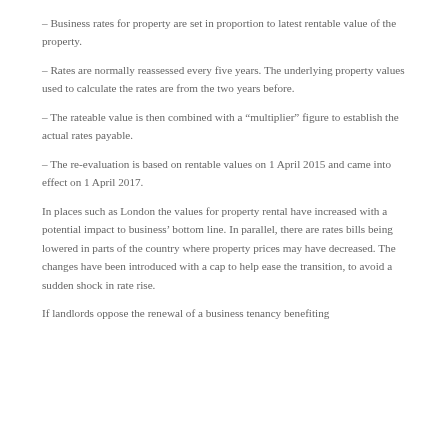– Business rates for property are set in proportion to latest rentable value of the property.
– Rates are normally reassessed every five years. The underlying property values used to calculate the rates are from the two years before.
– The rateable value is then combined with a “multiplier” figure to establish the actual rates payable.
– The re-evaluation is based on rentable values on 1 April 2015 and came into effect on 1 April 2017.
In places such as London the values for property rental have increased with a potential impact to business’ bottom line. In parallel, there are rates bills being lowered in parts of the country where property prices may have decreased. The changes have been introduced with a cap to help ease the transition, to avoid a sudden shock in rate rise.
If landlords oppose the renewal of a business tenancy benefiting